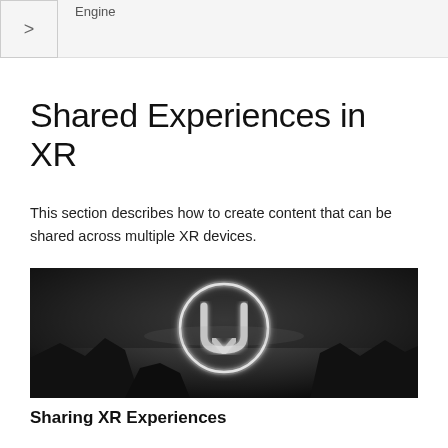Engine
Shared Experiences in XR
This section describes how to create content that can be shared across multiple XR devices.
[Figure (screenshot): Unreal Engine logo banner — glowing circular ring with the UE logo mark in center, dark dramatic landscape in background, black and white tonal image]
Sharing XR Experiences